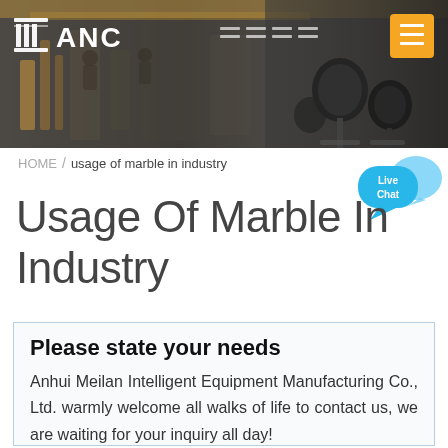[Figure (photo): Header banner showing a factory/industrial facility background with microphones in the foreground on the right side, dark overlay. Logo 'ANC' with pillar icon on top left, orange hamburger menu button on top right.]
HOME / usage of marble in industry
Usage Of Marble In Industry
Please state your needs
Anhui Meilan Intelligent Equipment Manufacturing Co., Ltd. warmly welcome all walks of life to contact us, we are waiting for your inquiry all day!